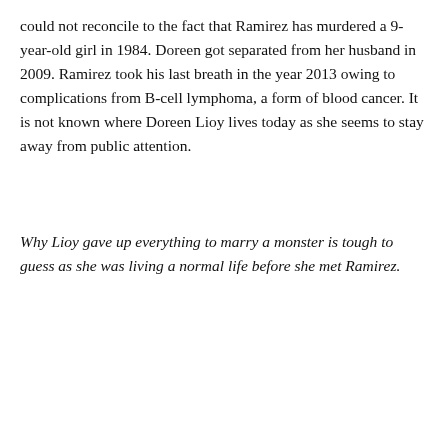could not reconcile to the fact that Ramirez has murdered a 9-year-old girl in 1984. Doreen got separated from her husband in 2009. Ramirez took his last breath in the year 2013 owing to complications from B-cell lymphoma, a form of blood cancer. It is not known where Doreen Lioy lives today as she seems to stay away from public attention.
Why Lioy gave up everything to marry a monster is tough to guess as she was living a normal life before she met Ramirez.